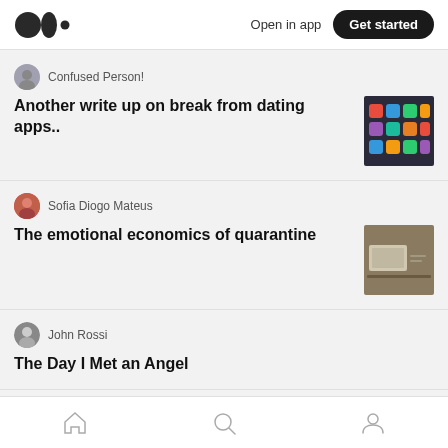Medium logo | Open in app | Get started
Confused Person!
Another write up on break from dating apps..
[Figure (photo): Smartphone with colorful app icons on dark background]
Sofia Diogo Mateus
The emotional economics of quarantine
[Figure (photo): Desk with laptop and notebook]
John Rossi
The Day I Met an Angel
John Telfer in Human Parts
How Getting a Houseplant Helped with My Di...
[Figure (photo): Close-up of a succulent plant with blue-green leaves]
Home | Search | Profile